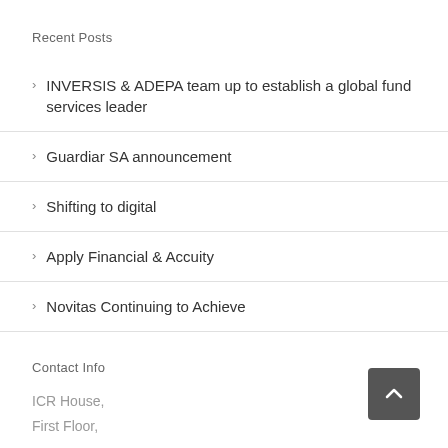Recent Posts
INVERSIS & ADEPA team up to establish a global fund services leader
Guardiar SA announcement
Shifting to digital
Apply Financial & Accuity
Novitas Continuing to Achieve
Contact Info
ICR House,
First Floor,